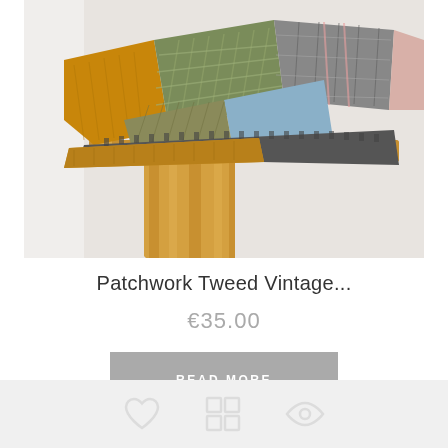[Figure (photo): Close-up photo of a patchwork tweed flat cap with multicolored fabric patches including herringbone green, plaid grey, blue, mustard, and pink sections, sitting on a wooden surface.]
Patchwork Tweed Vintage...
€35.00
READ MORE
[Figure (illustration): Footer bar with three icons: heart/wishlist icon, grid/view icon, and compare icon, rendered in light grey on a light background.]